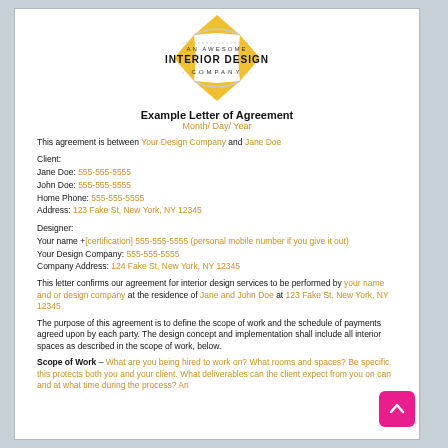[Figure (logo): An Awesome Interior Design Company logo — yellow diamond shapes with circular arc, text reading AN AWESOME INTERIOR DESIGN COMPANY]
Example Letter of Agreement
Month/ Day/ Year
This agreement is between Your Design Company and Jane Doe
Client:
Jane Doe: 555-555-5555
John Doe: 555-555-5555
Home Phone: 555-555-5555
Address: 123 Fake St, New York, NY 12345
Designer:
Your name +[certification] 555-555-5555 (personal mobile number if you give it out)
Your Design Company: 555-555-5555
Company Address: 124 Fake St, New York, NY 12345
This letter confirms our agreement for interior design services to be performed by your name and or design company at the residence of Jane and John Doe at 123 Fake St, New York, NY 12345
The purpose of this agreement is to define the scope of work and the schedule of payments agreed upon by each party. The design concept and implementation shall include all interior spaces as described in the scope of work, below.
Scope of Work – What are you being hired to work on? What rooms and spaces? Be specific this protects both you and your client. What deliverables can the client expect from you on can and at what time during the process? An...